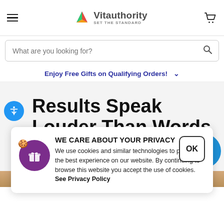Vitauthority — SET THE STANDARD
What are you looking for?
Enjoy Free Gifts on Qualifying Orders!
Results Speak Louder Than Words
WE CARE ABOUT YOUR PRIVACY
We use cookies and similar technologies to provide the best experience on our website. By continuing to browse this website you accept the use of cookies. See Privacy Policy